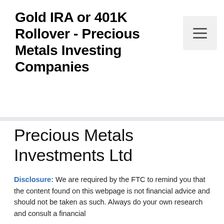Gold IRA or 401K Rollover - Precious Metals Investing Companies
[Figure (other): Hamburger menu button icon (three horizontal lines) in a light gray rounded rectangle, positioned in the top-right corner of the header]
Precious Metals Investments Ltd
Disclosure: We are required by the FTC to remind you that the content found on this webpage is not financial advice and should not be taken as such. Always do your own research and consult a financial